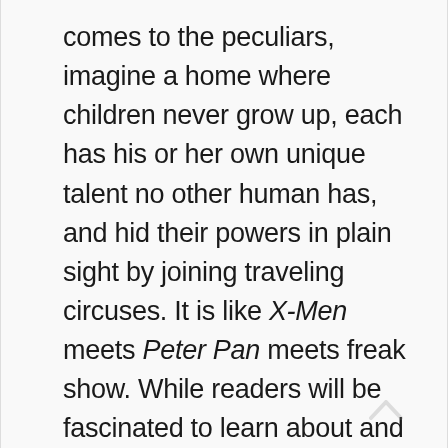comes to the peculiars, imagine a home where children never grow up, each has his or her own unique talent no other human has, and hid their powers in plain sight by joining traveling circuses. It is like X-Men meets Peter Pan meets freak show. While readers will be fascinated to learn about and will be briefly introduced to each of the peculiars, it would have been nice to learn more about each of the children's back stories. That must be what the remaining books in the series are for.